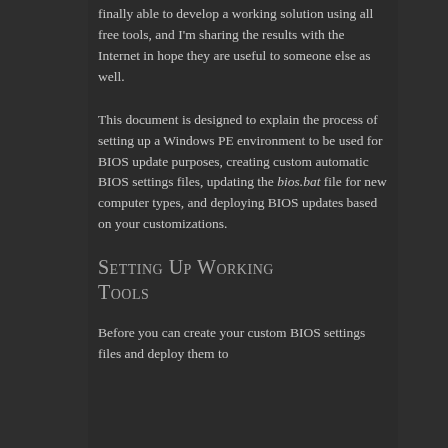finally able to develop a working solution using all free tools, and I'm sharing the results with the Internet in hope they are useful to someone else as well.
This document is designed to explain the process of setting up a Windows PE environment to be used for BIOS update purposes, creating custom automatic BIOS settings files, updating the bios.bat file for new computer types, and deploying BIOS updates based on your customizations.
Setting Up Working Tools
Before you can create your custom BIOS settings files and deploy them to